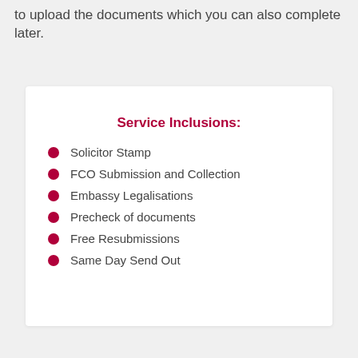to upload the documents which you can also complete later.
Service Inclusions:
Solicitor Stamp
FCO Submission and Collection
Embassy Legalisations
Precheck of documents
Free Resubmissions
Same Day Send Out